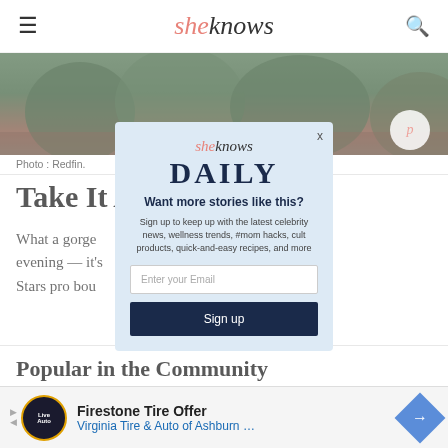sheknows
[Figure (photo): Outdoor photograph showing trees and foliage with a circular white button overlay in the top right]
Photo : Redfin.
Take It A…
What a gorge… et each evening — it's… With the Stars pro bou… ome.
Popular in the Community
[Figure (screenshot): SheKnows Daily newsletter signup modal with email input field and Sign up button]
[Figure (infographic): Firestone Tire Offer advertisement banner for Virginia Tire & Auto of Ashburn]